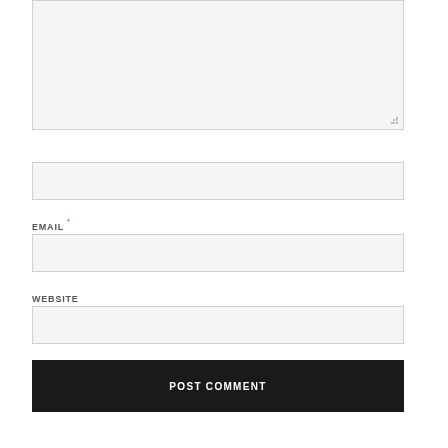[Comment textarea — large input field]
NAME *
[Name input field]
EMAIL *
[Email input field]
WEBSITE
[Website input field]
POST COMMENT